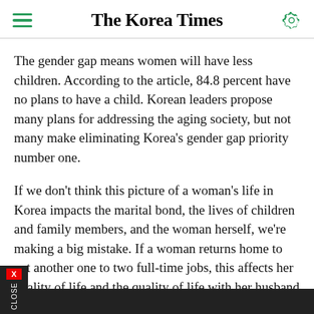The Korea Times
The gender gap means women will have less children. According to the article, 84.8 percent have no plans to have a child. Korean leaders propose many plans for addressing the aging society, but not many make eliminating Korea's gender gap priority number one.
If we don't think this picture of a woman's life in Korea impacts the marital bond, the lives of children and family members, and the woman herself, we're making a big mistake. If a woman returns home to yet another one to two full-time jobs, this affects her quality of life and the quality of life with her husband or partner. If she complains at work or at home, she